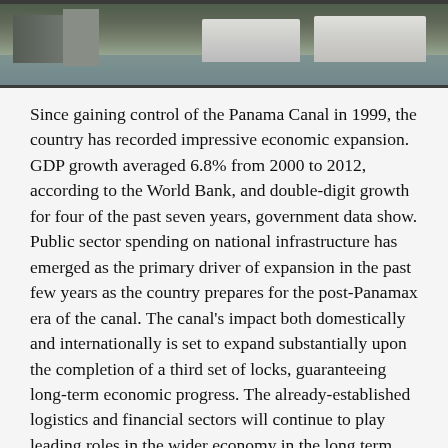[Figure (photo): Photograph of boats/yachts docked at a marina or port, likely related to Panama Canal area. Partially visible at the top of the page, showing the lower portion of several white boats moored at a dock with water and structures visible.]
Since gaining control of the Panama Canal in 1999, the country has recorded impressive economic expansion. GDP growth averaged 6.8% from 2000 to 2012, according to the World Bank, and double-digit growth for four of the past seven years, government data show. Public sector spending on national infrastructure has emerged as the primary driver of expansion in the past few years as the country prepares for the post-Panamax era of the canal. The canal's impact both domestically and internationally is set to expand substantially upon the completion of a third set of locks, guaranteeing long-term economic progress. The already-established logistics and financial sectors will continue to play leading roles in the wider economy in the long term, while nascent sectors such as tourism and mining show significant potential for growth. Bureaucracy and poor human resources development remain the main hindrances to national economic development. This chapter includes interviews with Frank de Lima, Minister of Economy and Finance; Nicolás Ardito Barletta, Director-General, National